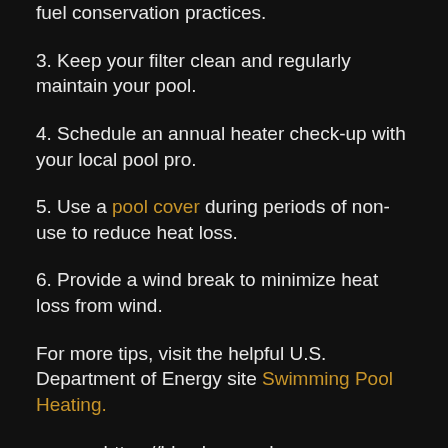fuel conservation practices.
3. Keep your filter clean and regularly maintain your pool.
4. Schedule an annual heater check-up with your local pool pro.
5. Use a pool cover during periods of non-use to reduce heat loss.
6. Provide a wind break to minimize heat loss from wind.
For more tips, visit the helpful U.S. Department of Energy site Swimming Pool Heating.
source: https://blog.hayward-